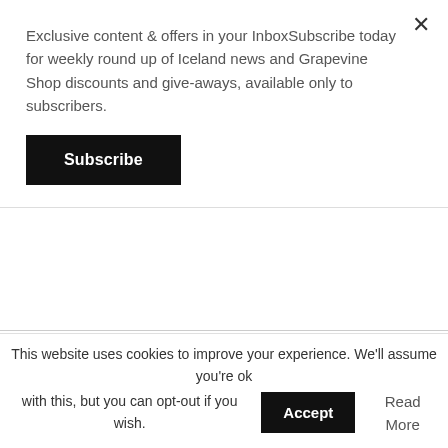Exclusive content & offers in your InboxSubscribe today for weekly round up of Iceland news and Grapevine Shop discounts and give-aways, available only to subscribers.
Subscribe
hairdos. Never mind the fact that people just seem to be inherently gorgeous here, but on top of that they also have to dress well too? Where do they get the money to burn away in these sleek boutiques?
And don't even get me started on this whole "þetta reddast" bullshit. Life sucks and then you die. Maybe, somehow, not in Reykjavík, but where I'm from, one slogan you might hear is "Detroit: Where the weak are
This website uses cookies to improve your experience. We'll assume you're ok with this, but you can opt-out if you wish.
Accept
Read More